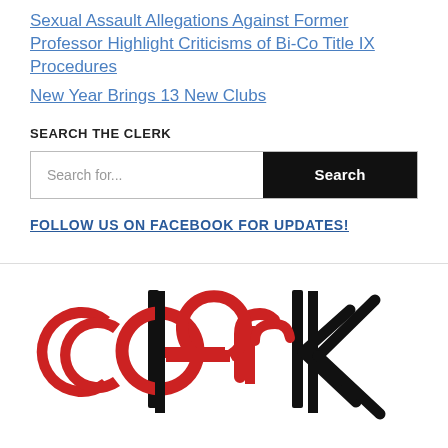Sexual Assault Allegations Against Former Professor Highlight Criticisms of Bi-Co Title IX Procedures
New Year Brings 13 New Clubs
SEARCH THE CLERK
Search for... [Search button]
FOLLOW US ON FACEBOOK FOR UPDATES!
[Figure (logo): The Clerk newspaper logo: stylized word 'clerk' with red circular letters and black tall vertical strokes]